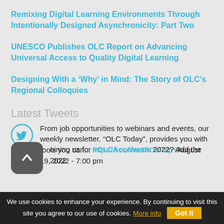Remixing Digital Learning Environments Through Intentionally Designed Asynchronicity: Part Two
UNESCO Publishes OLC Report on Advancing Universal Access to Quality Digital Learning
Designing With a ‘Why’ in Mind: The Story of OLC’s Regional Colloquies
Latest Tweets
From job opportunities to webinars and events, our weekly newsletter, “OLC Today”, provides you with tools you can... https://t.co/Wa0AOV78pY August 19, 2022 - 7:00 pm
...oining us for #OLCAccelerate 2022? Add the 2022...
We use cookies to enhance your experience. By continuing to visit this site you agree to our use of cookies. More info Got It